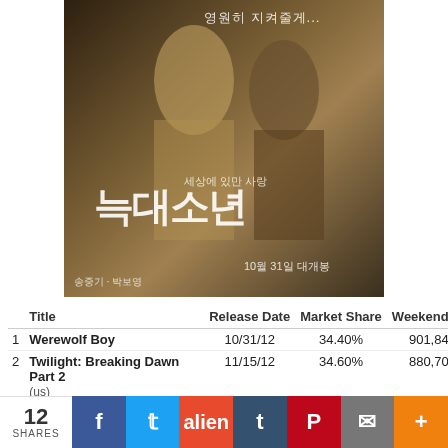[Figure (photo): Korean movie poster for 'Werewolf Boy' (늑대소년) showing a young woman and a figure behind her, with Korean text and October 31 release date]
|  | Title | Release Date | Market Share | Weekend |
| --- | --- | --- | --- | --- |
| 1 | Werewolf Boy | 10/31/12 | 34.40% | 901,84… |
| 2 | Twilight: Breaking Dawn Part 2 (us) | 11/15/12 | 34.60% | 880,70… |
| 3 | Confession of Murder | 11/8/12 | 17.20% | 416,11… |
| 4 | Code Name: Jackal | 11/15/12 | 4.10% | 109,01… |
| 5 | Masquerade | 9/13/12 | 3.80% | 98,38… |